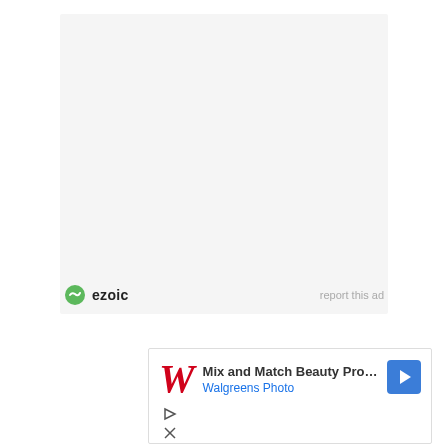[Figure (other): Ezoic ad placeholder — light gray rectangle with ezoic logo and 'report this ad' link at bottom]
[Figure (other): Walgreens Photo advertisement banner with Walgreens W logo, text 'Mix and Match Beauty Products', 'Walgreens Photo', a navigation arrow icon, and play/close icons below]